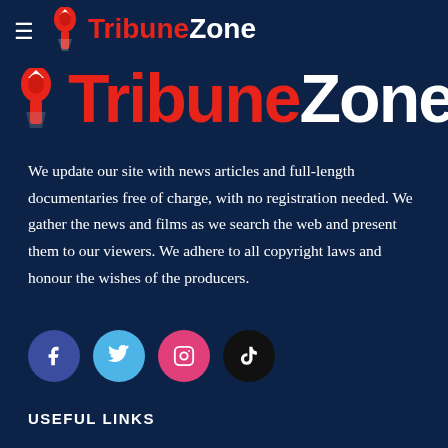TribuneZone
[Figure (logo): TribuneZone website logo displayed twice — once small in the top navigation bar and once large in a banner below it. The logo consists of a stylized red torch/flame icon and the word 'Tribune' in red followed by 'Zone' in white on a dark navy background.]
We update our site with news articles and full-length documentaries free of charge, with no registration needed. We gather the news and films as we search the web and present them to our viewers. We adhere to all copyright laws and honour the wishes of the producers.
[Figure (infographic): Four social media icon buttons in circles: Facebook (dark blue), Twitter (light blue), Instagram (pink/magenta), TikTok (black)]
USEFUL LINKS
Yelp
Facebook